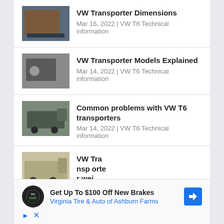VW Transporter Dimensions
Mar 16, 2022 | VW T6 Technical information
VW Transporter Models Explained
Mar 14, 2022 | VW T6 Technical information
Common problems with VW T6 transporters
Mar 14, 2022 | VW T6 Technical information
VW Transporter wei
Mar 14, 2022 | VW T6 Technical information
[Figure (infographic): Advertisement: Get Up To $100 Off New Brakes - Virginia Tire & Auto of Ashburn Farms, with tire auto logo and blue direction arrow icon]